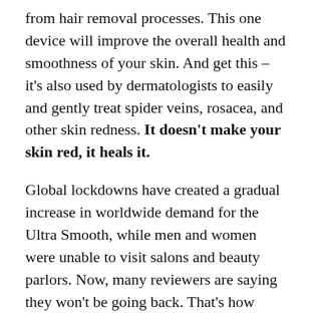from hair removal processes. This one device will improve the overall health and smoothness of your skin. And get this – it's also used by dermatologists to easily and gently treat spider veins, rosacea, and other skin redness. It doesn't make your skin red, it heals it.
Global lockdowns have created a gradual increase in worldwide demand for the Ultra Smooth, while men and women were unable to visit salons and beauty parlors. Now, many reviewers are saying they won't be going back. That's how great this device is.